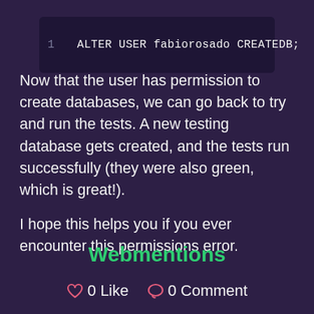[Figure (screenshot): Code block showing SQL command: line 1: ALTER USER fabiorosado CREATEDB;]
Now that the user has permission to create databases, we can go back to try and run the tests. A new testing database gets created, and the tests run successfully (they were also green, which is great!).
I hope this helps you if you ever encounter this permissions error.
Webmentions
0 Like   0 Comment